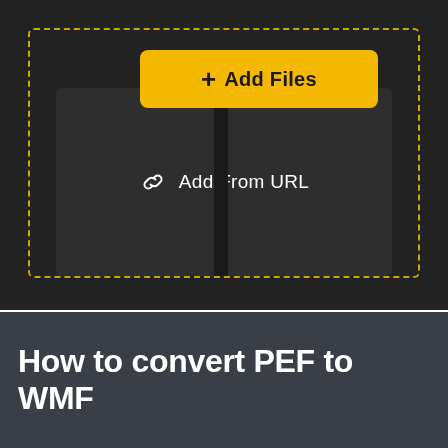[Figure (screenshot): Dark UI screenshot showing a file conversion tool interface with a dashed yellow border upload area, an 'Add Files' yellow button with a plus icon, and an 'Add From URL' option with a link icon below it, on a dark background.]
How to convert PEF to WMF